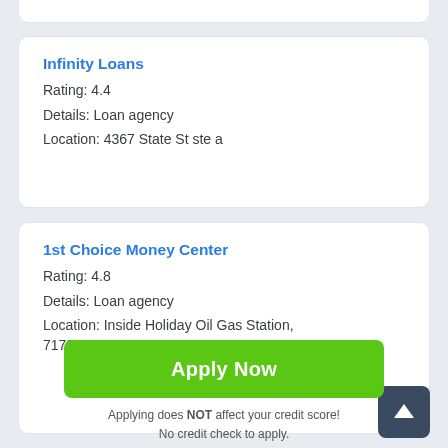Infinity Loans
Rating: 4.4
Details: Loan agency
Location: 4367 State St ste a
1st Choice Money Center
Rating: 4.8
Details: Loan agency
Location: Inside Holiday Oil Gas Station, 7173 700 W
Apply Now
Applying does NOT affect your credit score!
No credit check to apply.